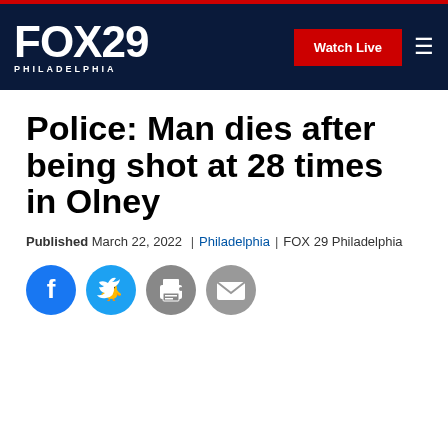FOX 29 PHILADELPHIA — Watch Live
Police: Man dies after being shot at 28 times in Olney
Published March 22, 2022 | Philadelphia | FOX 29 Philadelphia
[Figure (other): Social sharing icons: Facebook, Twitter, Print, Email]